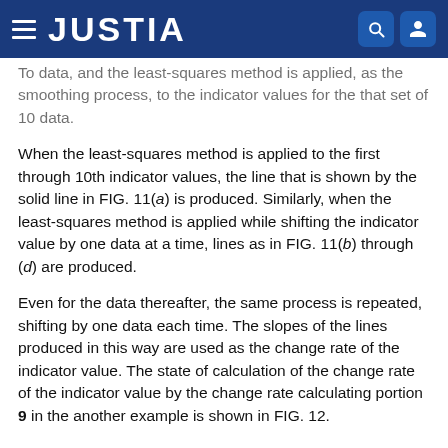JUSTIA
To data, and the least-squares method is applied, as the smoothing process, to the indicator values for the that set of 10 data.
When the least-squares method is applied to the first through 10th indicator values, the line that is shown by the solid line in FIG. 11(a) is produced. Similarly, when the least-squares method is applied while shifting the indicator value by one data at a time, lines as in FIG. 11(b) through (d) are produced.
Even for the data thereafter, the same process is repeated, shifting by one data each time. The slopes of the lines produced in this way are used as the change rate of the indicator value. The state of calculation of the change rate of the indicator value by the change rate calculating portion 9 in the another example is shown in FIG. 12.